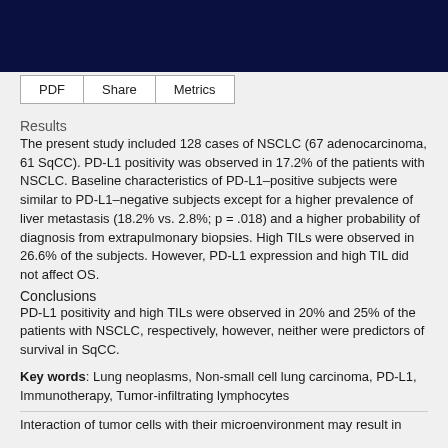Results
The present study included 128 cases of NSCLC (67 adenocarcinoma, 61 SqCC). PD-L1 positivity was observed in 17.2% of the patients with NSCLC. Baseline characteristics of PD-L1–positive subjects were similar to PD-L1–negative subjects except for a higher prevalence of liver metastasis (18.2% vs. 2.8%; p = .018) and a higher probability of diagnosis from extrapulmonary biopsies. High TILs were observed in 26.6% of the subjects. However, PD-L1 expression and high TIL did not affect OS.
Conclusions
PD-L1 positivity and high TILs were observed in 20% and 25% of the patients with NSCLC, respectively, however, neither were predictors of survival in SqCC.
Key words: Lung neoplasms, Non-small cell lung carcinoma, PD-L1, Immunotherapy, Tumor-infiltrating lymphocytes
Interaction of tumor cells with their microenvironment may result in